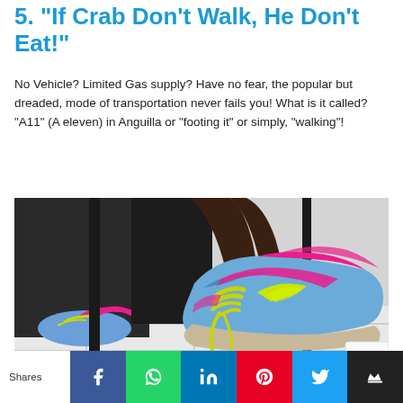5. "If Crab Don't Walk, He Don't Eat!"
No Vehicle? Limited Gas supply? Have no fear, the popular but dreaded, mode of transportation never fails you! What is it called? "A11" (A eleven) in Anguilla or "footing it" or simply, "walking"!
[Figure (photo): Photo of person wearing colorful ASICS running shoes (blue, pink, yellow-green laces) on a tiled floor under a desk/table, with another shoe visible in the background.]
Shares | Facebook | WhatsApp | LinkedIn | Pinterest | Twitter | Crown